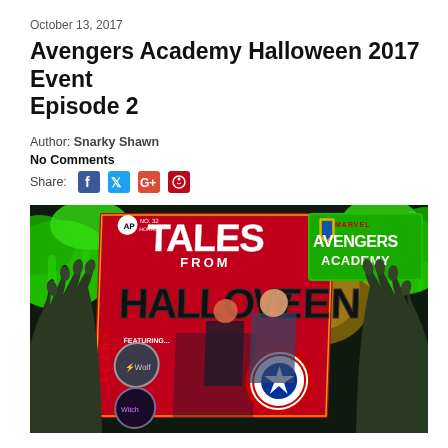October 13, 2017
Avengers Academy Halloween 2017 Event Episode 2
Author: Snarky Shawn
No Comments
Share:
[Figure (illustration): Comic book style image showing 'Tales From Halloween' Avengers Academy comic cover with heroes Black Widow and Captain America, zombie hands, green slime splatter, and character circles showing other heroes. Set against a dark spooky background.]